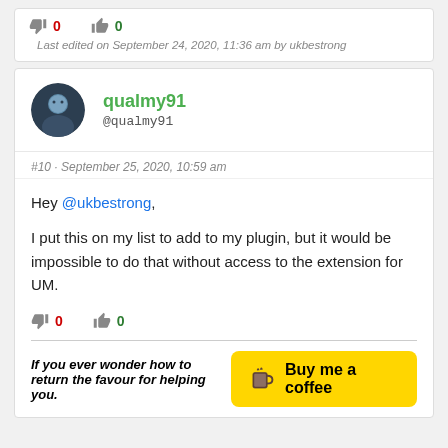0   0
Last edited on September 24, 2020, 11:36 am by ukbestrong
qualmy91
@qualmy91
#10 · September 25, 2020, 10:59 am
Hey @ukbestrong,

I put this on my list to add to my plugin, but it would be impossible to do that without access to the extension for UM.
0   0
If you ever wonder how to return the favour for helping you.
[Figure (other): Buy me a coffee button - yellow rounded rectangle with coffee cup icon and text 'Buy me a coffee']